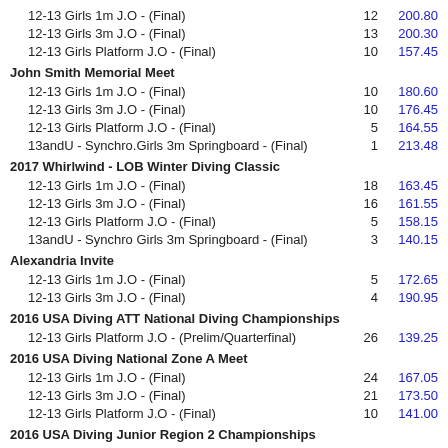12-13 Girls 1m J.O - (Final)
12-13 Girls 3m J.O - (Final)
12-13 Girls Platform J.O - (Final)
John Smith Memorial Meet
12-13 Girls 1m J.O - (Final)
12-13 Girls 3m J.O - (Final)
12-13 Girls Platform J.O - (Final)
13andU - Synchro.Girls 3m Springboard - (Final)
2017 Whirlwind - LOB Winter Diving Classic
12-13 Girls 1m J.O - (Final)
12-13 Girls 3m J.O - (Final)
12-13 Girls Platform J.O - (Final)
13andU - Synchro Girls 3m Springboard - (Final)
Alexandria Invite
12-13 Girls 1m J.O - (Final)
12-13 Girls 3m J.O - (Final)
2016 USA Diving ATT National Diving Championships
12-13 Girls Platform J.O - (Prelim/Quarterfinal)
2016 USA Diving National Zone A Meet
12-13 Girls 1m J.O - (Final)
12-13 Girls 3m J.O - (Final)
12-13 Girls Platform J.O - (Final)
2016 USA Diving Junior Region 2 Championships
12-13 Girls 1m J.O - (Final)
12-13 Girls 3m J.O - (Final)
John Smith Memorial Meet
Group C Girls 1m (12-13) - (Final)
13andU - Synchro Girls 1m Springboard - (Final)